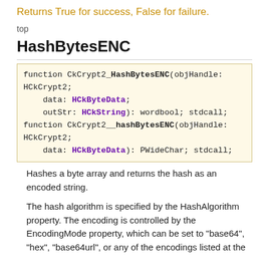Returns True for success, False for failure.
top
HashBytesENC
[Figure (other): Code block showing function signatures: function CkCrypt2_HashBytesENC(objHandle: HCkCrypt2; data: HCkByteData; outStr: HCkString): wordbool; stdcall; function CkCrypt2__hashBytesENC(objHandle: HCkCrypt2; data: HCkByteData): PWideChar; stdcall;]
Hashes a byte array and returns the hash as an encoded string.
The hash algorithm is specified by the HashAlgorithm property. The encoding is controlled by the EncodingMode property, which can be set to "base64", "hex", "base64url", or any of the encodings listed at the